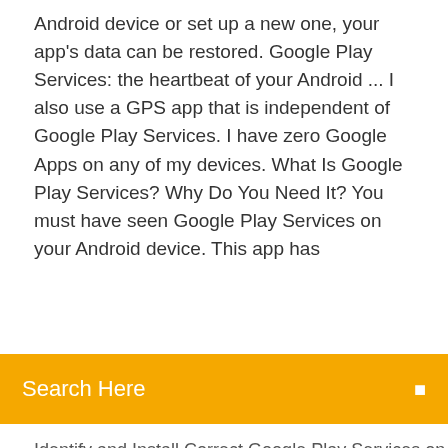Android device or set up a new one, your app's data can be restored. Google Play Services: the heartbeat of your Android ... I also use a GPS app that is independent of Google Play Services. I have zero Google Apps on any of my devices. What Is Google Play Services? Why Do You Need It? You must have seen Google Play Services on your Android device. This app has
Search Here
Identify and Install Correct Google Play Services on ...
Google chrome télécharger windows 7 64 bit
Soundmax integrated digital audio driver windows 10 32 bit télécharger
Comment rappeler un mail deja envoyé gmail
Telecharger gratuit iptv pour pc
Sony pc companion windows 10 gratuit télécharger
Plante vs zombie garden warfare 2 gratuit pc
Gta san andreas apk android 8.1